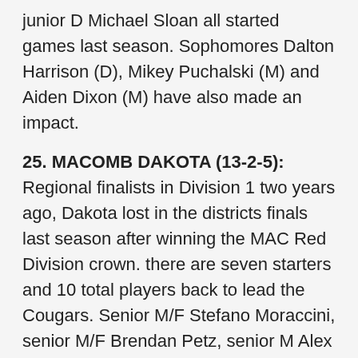junior D Michael Sloan all started games last season. Sophomores Dalton Harrison (D), Mikey Puchalski (M) and Aiden Dixon (M) have also made an impact.
25. MACOMB DAKOTA (13-2-5): Regional finalists in Division 1 two years ago, Dakota lost in the districts finals last season after winning the MAC Red Division crown. there are seven starters and 10 total players back to lead the Cougars. Senior M/F Stefano Moraccini, senior M/F Brendan Petz, senior M Alex Kaiser, senior D Joshua VanDeVelde, senior D Parker Dreher, senior D/M Brady Zarschler and junior D Garrett Barnett are returning starters. Junior M Noster Nerte and junior junior D Sl...